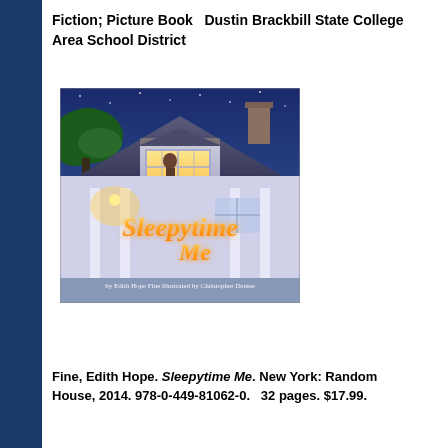Fiction; Picture Book   Dustin Brackbill State College Area School District
[Figure (photo): Book cover of 'Sleepytime Me' by Edith Hope Fine, illustrated by Christopher Denise. Shows a house at night with a child looking out a lit window, with the title in golden script lettering.]
Fine, Edith Hope. Sleepytime Me. New York: Random House, 2014. 978-0-449-81062-0.   32 pages. $17.99.